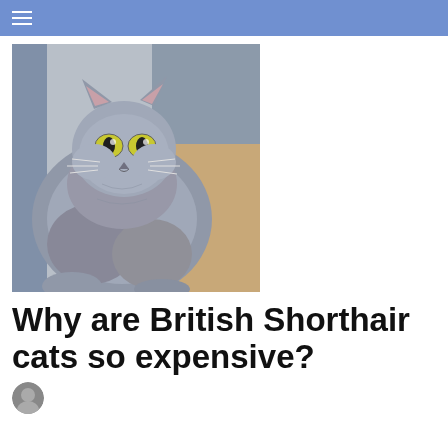☰
[Figure (photo): A grey British Shorthair cat with yellow eyes looking at the camera, standing on a cat tree in an indoor setting]
Why are British Shorthair cats so expensive?
[Figure (photo): Small circular author avatar photo, partially visible at bottom of page]